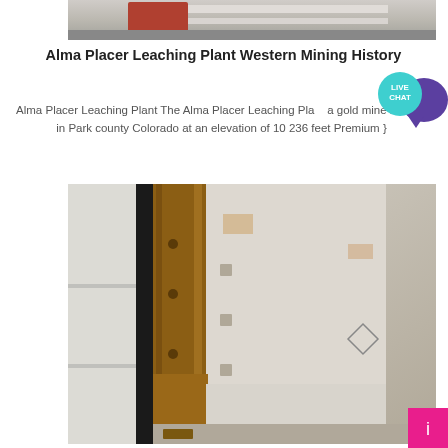[Figure (photo): Partial view of mining equipment, top portion, gray tones]
Alma Placer Leaching Plant Western Mining History
Alma Placer Leaching Plant The Alma Placer Leaching Plant a gold mine located in Park county Colorado at an elevation of 10 236 feet Premium }
[Figure (photo): Close-up photograph of rusty industrial mining/leaching plant equipment showing corroded metal components, white painted surfaces, bolts and mechanical parts]